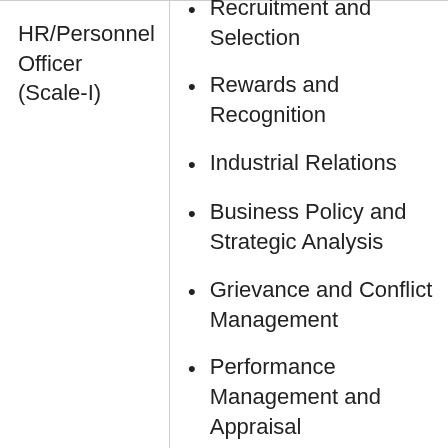HR/Personnel Officer (Scale-I)
Recruitment and Selection
Rewards and Recognition
Industrial Relations
Business Policy and Strategic Analysis
Grievance and Conflict Management
Performance Management and Appraisal